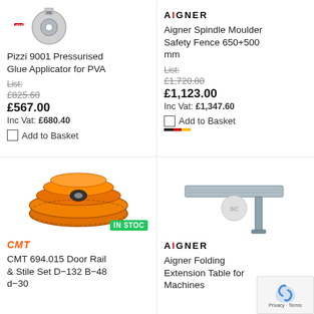[Figure (photo): Pizzi pressurised glue applicator product photo, top view]
Pizzi 9001 Pressurised Glue Applicator for PVA
List: £825.60
£567.00
Inc Vat: £680.40
Add to Basket
[Figure (logo): AIGNER brand logo]
Aigner Spindle Moulder Safety Fence 650+500 mm
List: £1,720.80
£1,123.00
Inc Vat: £1,347.60
Add to Basket
[Figure (photo): CMT 694.015 Door Rail & Stile Set orange router bit set, IN STOCK badge]
CMT 694.015 Door Rail & Stile Set D-132 B-48 d-30
[Figure (photo): Aigner Folding Extension Table for Machines product photo]
Aigner Folding Extension Table for Machines